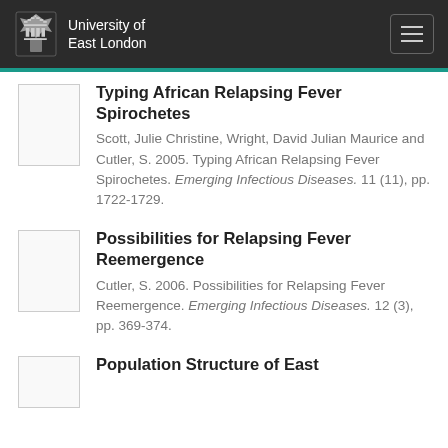University of East London
Typing African Relapsing Fever Spirochetes
Scott, Julie Christine, Wright, David Julian Maurice and Cutler, S. 2005. Typing African Relapsing Fever Spirochetes. Emerging Infectious Diseases. 11 (11), pp. 1722-1729.
Possibilities for Relapsing Fever Reemergence
Cutler, S. 2006. Possibilities for Relapsing Fever Reemergence. Emerging Infectious Diseases. 12 (3), pp. 369-374.
Population Structure of East